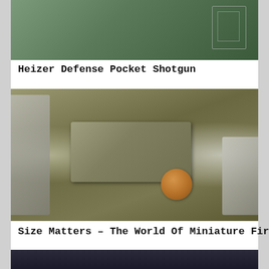[Figure (photo): Partial photo of Heizer Defense Pocket Shotgun with green background and small sketch outline visible in upper right]
Heizer Defense Pocket Shotgun
[Figure (photo): A miniature pistol/firearm placed on a wooden board with a penny coin for size comparison. Metal plates visible on left and right sides.]
Size Matters – The World Of Miniature Firearms
[Figure (photo): Partial bottom photo, dark background, beginning of another article image]